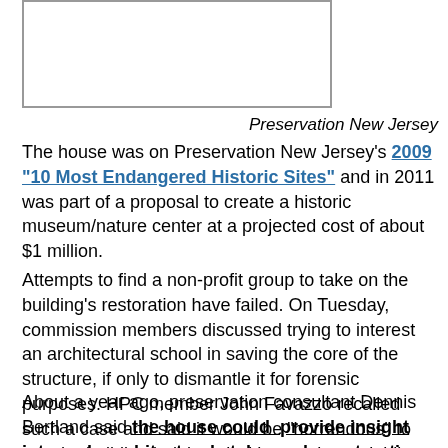[Figure (photo): Photograph of a historic house, shown as a white rectangular image box]
Preservation New Jersey
The house was on Preservation New Jersey's 2009 "10 Most Endangered Historic Sites" and in 2011 was part of a proposal to create a historic museum/nature center at a projected cost of about $1 million.
Attempts to find a non-profit group to take on the building's restoration have failed. On Tuesday, commission members discussed trying to interest an architectural school in saving the core of the structure, if only to dismantle it for forensic purposes. HPC member John Favazzo recalled such a case and said it would be "horrendous" to see the building bulldozed without at least yielding its architectural secrets. He called the prior forensic study "an autopsy."
About a year ago, preservation consultant Dennis Bertland said the house could provide insight into early architectural styles and construction methods. He said the structure reflected Dutch and English building traditions